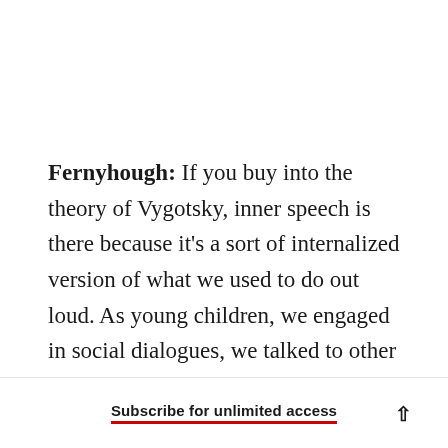Fernyhough: If you buy into the theory of Vygotsky, inner speech is there because it's a sort of internalized version of what we used to do out loud. As young children, we engaged in social dialogues, we talked to other people, and we went through a stage known as private speech, where we talk to ourselves out loud. Then that becomes completely internalized, it's all going on silently in
Subscribe for unlimited access